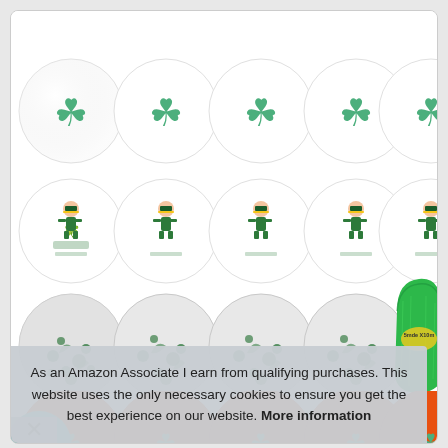[Figure (photo): Product image showing St. Patrick's Day balloon set: top row of 5 white balloons with green shamrock designs, second row of 5 white balloons with leprechaun designs, third row of 4 silver confetti balloons with green confetti plus a green metallic ribbon spool, fourth row showing 5 orange balloons with shamrock designs (partially cropped), and a teal/green balloon partially visible at bottom left.]
As an Amazon Associate I earn from qualifying purchases. This website uses the only necessary cookies to ensure you get the best experience on our website. More information